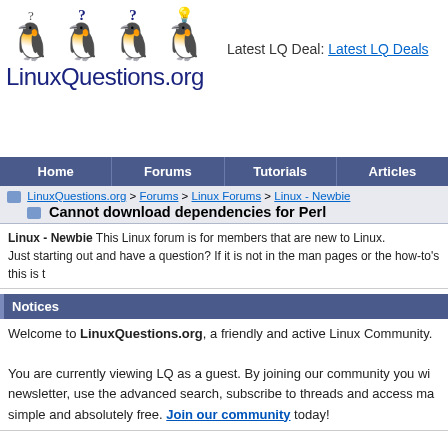[Figure (logo): LinuxQuestions.org logo with four Tux penguins and question marks/lightbulb above them, with site name text below]
Latest LQ Deal: Latest LQ Deals
Home | Forums | Tutorials | Articles
LinuxQuestions.org > Forums > Linux Forums > Linux - Newbie
Cannot download dependencies for Perl
Linux - Newbie This Linux forum is for members that are new to Linux. Just starting out and have a question? If it is not in the man pages or the how-to's this is t
Notices
Welcome to LinuxQuestions.org, a friendly and active Linux Community.

You are currently viewing LQ as a guest. By joining our community you wi newsletter, use the advanced search, subscribe to threads and access ma simple and absolutely free. Join our community today!